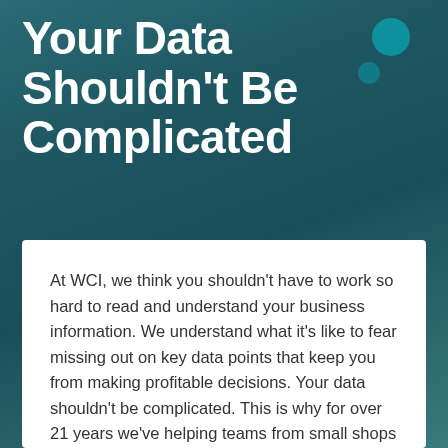Your Data Shouldn't Be Complicated
At WCI, we think you shouldn't have to work so hard to read and understand your business information. We understand what it's like to fear missing out on key data points that keep you from making profitable decisions. Your data shouldn't be complicated. This is why for over 21 years we've helping teams from small shops to Fortune 500 companies better utilize their data.